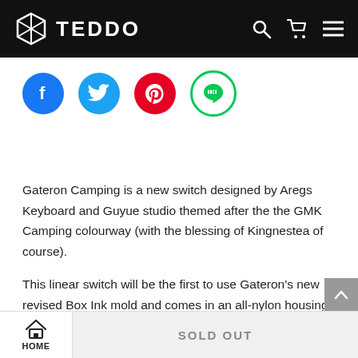TEDDO
[Figure (logo): TEDDO brand logo with hexagonal icon and text, white on black background]
[Figure (infographic): Social media share icons row: Facebook (blue), Twitter (blue), Pinterest (red), LINE (green)]
Gateron Camping is a new switch designed by Aregs Keyboard and Guyue studio themed after the the GMK Camping colourway (with the blessing of Kingnestea of course).
This linear switch will be the first to use Gateron's new revised Box Ink mold and comes in an all-nylon housing and POM stem, with a 22mm dual stage spring and comes factory pre lubed in a similar
HOME    SOLD OUT